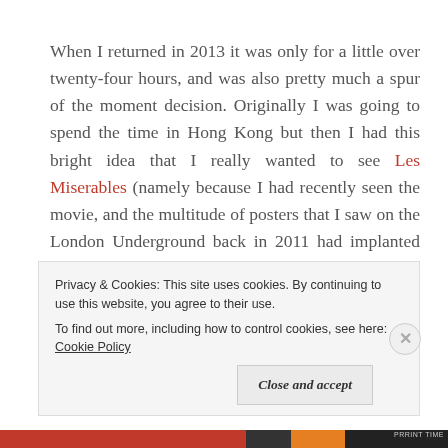When I returned in 2013 it was only for a little over twenty-four hours, and was also pretty much a spur of the moment decision. Originally I was going to spend the time in Hong Kong but then I had this bright idea that I really wanted to see Les Miserables (namely because I had recently seen the movie, and the multitude of posters that I saw on the London Underground back in 2011 had implanted the desire to see the musical into my head), and felt that if I didn't see it then, I would never get to see it. So I booked...
Privacy & Cookies: This site uses cookies. By continuing to use this website, you agree to their use. To find out more, including how to control cookies, see here: Cookie Policy
Close and accept